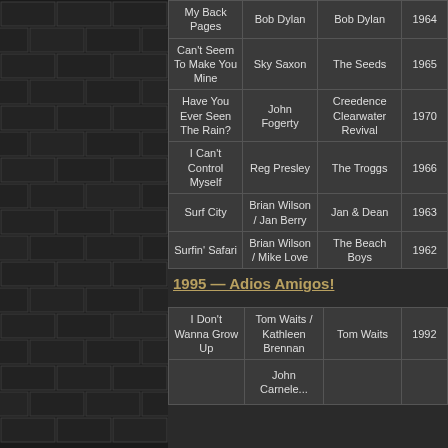| Song | Writer | Artist | Year |
| --- | --- | --- | --- |
| My Back Pages | Bob Dylan | Bob Dylan | 1964 |
| Can't Seem To Make You Mine | Sky Saxon | The Seeds | 1965 |
| Have You Ever Seen The Rain? | John Fogerty | Creedence Clearwater Revival | 1970 |
| I Can't Control Myself | Reg Presley | The Troggs | 1966 |
| Surf City | Brian Wilson / Jan Berry | Jan & Dean | 1963 |
| Surfin' Safari | Brian Wilson / Mike Love | The Beach Boys | 1962 |
1995 — Adios Amigos!
| Song | Writer | Artist | Year |
| --- | --- | --- | --- |
| I Don't Wanna Grow Up | Tom Waits / Kathleen Brennan | Tom Waits | 1992 |
|  | John Garnels... |  |  |